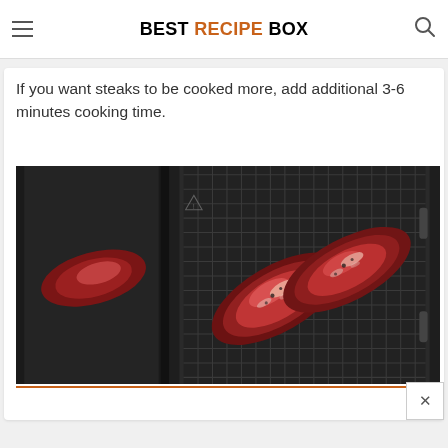BEST RECIPE BOX
thick and cook the steaks the plus that works you prefer…
If you want steaks to be cooked more, add additional 3-6 minutes cooking time.
[Figure (photo): Two raw seasoned steaks placed on the wire rack inside an open air fryer basket. The air fryer lid is open on the left side also showing a piece of meat. A watermark reads BestRecipeBox.com at the bottom left of the photo.]
BestRecipeBox.com